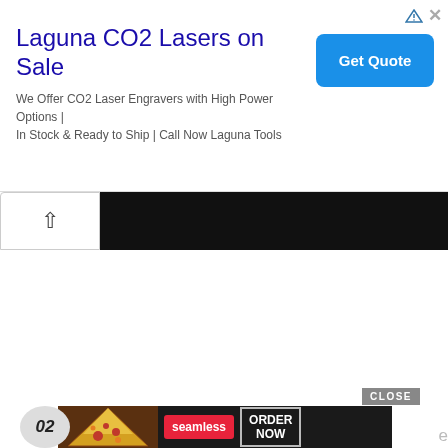[Figure (screenshot): Web advertisement banner for Laguna CO2 Lasers on Sale with a blue Get Quote button and ad icons in top right corner]
Laguna CO2 Lasers on Sale
We Offer CO2 Laser Engravers with High Power Options | In Stock & Ready to Ship | Call Now Laguna Tools
[Figure (screenshot): Navigation bar with an up-arrow button on white background and a black bar extending to the right]
[Figure (screenshot): Bottom advertisement for Seamless food delivery showing pizza image, Seamless logo in red, and ORDER NOW button. A CLOSE button appears above it. A partial circular badge with '02' at bottom left.]